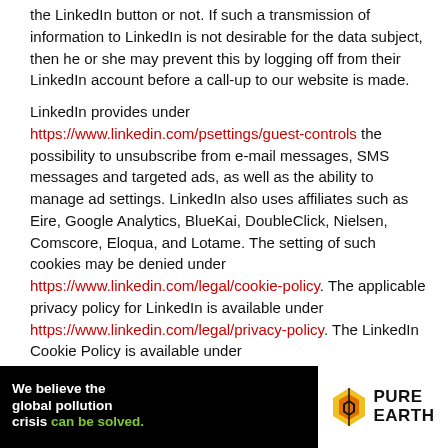the LinkedIn button or not. If such a transmission of information to LinkedIn is not desirable for the data subject, then he or she may prevent this by logging off from their LinkedIn account before a call-up to our website is made.
LinkedIn provides under https://www.linkedin.com/psettings/guest-controls the possibility to unsubscribe from e-mail messages, SMS messages and targeted ads, as well as the ability to manage ad settings. LinkedIn also uses affiliates such as Eire, Google Analytics, BlueKai, DoubleClick, Nielsen, Comscore, Eloqua, and Lotame. The setting of such cookies may be denied under https://www.linkedin.com/legal/cookie-policy. The applicable privacy policy for LinkedIn is available under https://www.linkedin.com/legal/privacy-policy. The LinkedIn Cookie Policy is available under https://www.linkedin.com/legal/cookie-policy.
[Figure (infographic): Pure Earth advertisement banner: black background with white and green text on left reading 'We believe the global pollution crisis can be solved.' with smaller white text in middle, yellow JOIN US text, and Pure Earth logo with diamond shield icon on white background on right.]